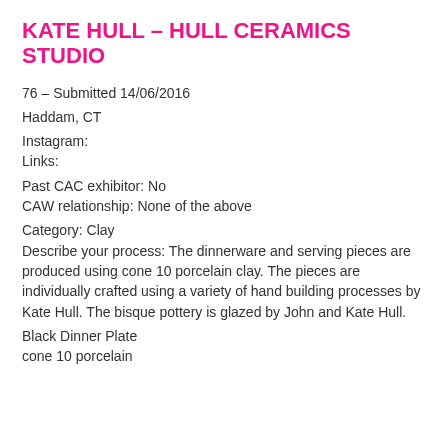KATE HULL – HULL CERAMICS STUDIO
76 – Submitted 14/06/2016
Haddam, CT
Instagram:
Links:
Past CAC exhibitor: No
CAW relationship: None of the above
Category: Clay
Describe your process: The dinnerware and serving pieces are produced using cone 10 porcelain clay. The pieces are individually crafted using a variety of hand building processes by Kate Hull. The bisque pottery is glazed by John and Kate Hull.
Black Dinner Plate
cone 10 porcelain